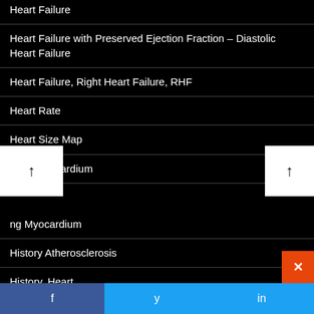Heart Failure
Heart Failure with Preserved Ejection Fraction – Diastolic Heart Failure
Heart Failure, Right Heart Failure, RHF
Heart Rate
Heart Size Map
Hemopericardium
…ng Myocardium
History Atherosclerosis
History, Heart
Holt Oram Syndrome
https://heart.thecommonvein.net/074h-55f-avm-lad-incidental-finding/
f  y  in